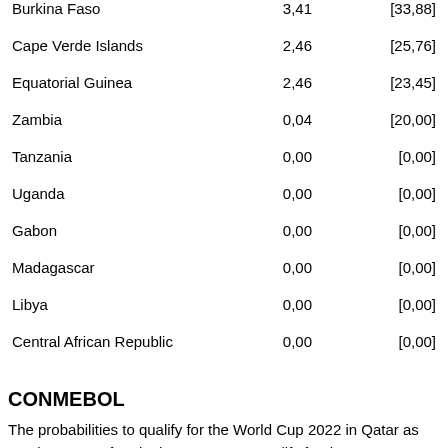| Country | Value | Interval |
| --- | --- | --- |
| Burkina Faso | 3,41 | [33,88] |
| Cape Verde Islands | 2,46 | [25,76] |
| Equatorial Guinea | 2,46 | [23,45] |
| Zambia | 0,04 | [20,00] |
| Tanzania | 0,00 | [0,00] |
| Uganda | 0,00 | [0,00] |
| Gabon | 0,00 | [0,00] |
| Madagascar | 0,00 | [0,00] |
| Libya | 0,00 | [0,00] |
| Central African Republic | 0,00 | [0,00] |
CONMEBOL
The probabilities to qualify for the World Cup 2022 in Qatar as number one to four in the group or to qualify for the